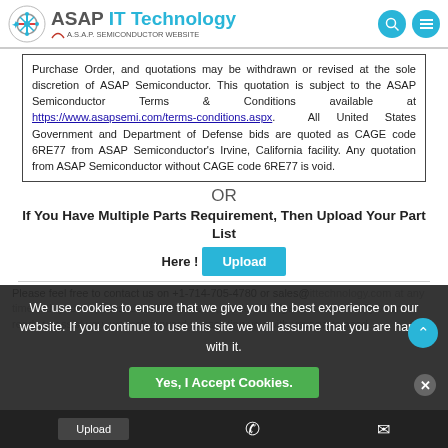ASAP IT Technology — AN A.S.A.P. SEMICONDUCTOR WEBSITE
Purchase Order, and quotations may be withdrawn or revised at the sole discretion of ASAP Semiconductor. This quotation is subject to the ASAP Semiconductor Terms & Conditions available at https://www.asapsemi.com/terms-conditions.aspx. All United States Government and Department of Defense bids are quoted as CAGE code 6RE77 from ASAP Semiconductor's Irvine, California facility. Any quotation from ASAP Semiconductor without CAGE code 6RE77 is void.
OR
If You Have Multiple Parts Requirement, Then Upload Your Part List
Here ! Upload
Please feel free to contact us on +1-714-705-4780 or sales@ ittechnology.com at any time with your inquiries and bill of material, our knowledgeable and friendly team is ready to assist you, we look forward to assisting you with your parts need.
We use cookies to ensure that we give you the best experience on our website. If you continue to use this site we will assume that you are happy with it.
Yes, I Accept Cookies.